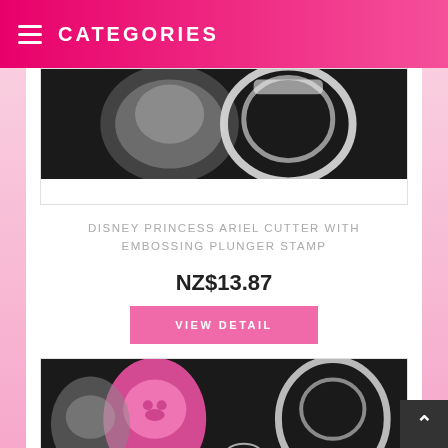CATEGORIES
[Figure (photo): Product photo of Disney Princess Ariel cookie cutter with embossing plunger stamp on dark background (partial, top portion)]
DISNEY PRINCESS ARIEL CUTTER WITH EMBOSSING PLUNGER STAMP
NZ$13.87
VIEW DETAIL
[Figure (photo): Product photo of Disney Princess Belle cookie cutter with embossing plunger stamp on dark background, showing pink and white plastic pieces]